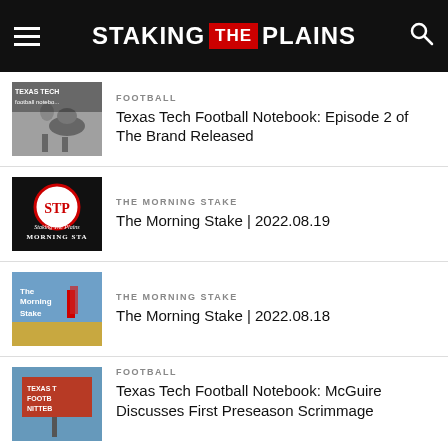STAKING THE PLAINS
[Figure (screenshot): Thumbnail for Texas Tech Football Notebook article - black and white image of person on horseback]
FOOTBALL
Texas Tech Football Notebook: Episode 2 of The Brand Released
[Figure (screenshot): Thumbnail for The Morning Stake - black and white logo with STP circle badge and script text 'Staking The Plains Morning Stake']
THE MORNING STAKE
The Morning Stake | 2022.08.19
[Figure (screenshot): Thumbnail for The Morning Stake - photo of plains landscape with 'The Morning Stake' text and red marker graphic]
THE MORNING STAKE
The Morning Stake | 2022.08.18
[Figure (screenshot): Thumbnail for Texas Tech Football Notebook - partial image of sign or billboard]
FOOTBALL
Texas Tech Football Notebook: McGuire Discusses First Preseason Scrimmage